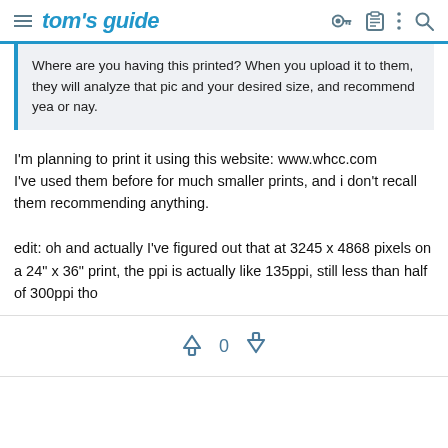tom's guide
Where are you having this printed? When you upload it to them, they will analyze that pic and your desired size, and recommend yea or nay.
I'm planning to print it using this website: www.whcc.com
I've used them before for much smaller prints, and i don't recall them recommending anything.

edit: oh and actually I've figured out that at 3245 x 4868 pixels on a 24" x 36" print, the ppi is actually like 135ppi, still less than half of 300ppi tho
[Figure (infographic): Vote bar with up arrow, 0, and down arrow icons in blue-grey]